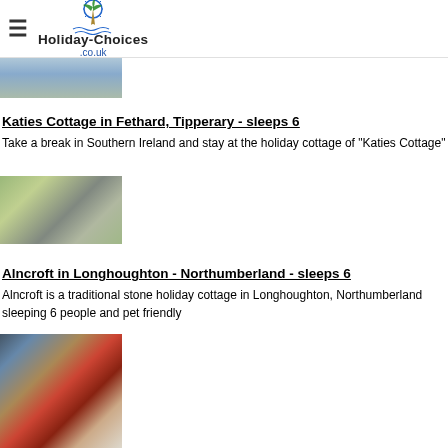Holiday-Choices .co.uk
[Figure (photo): Partial view of a property image at top of page, cut off]
Katies Cottage in Fethard, Tipperary - sleeps 6
Take a break in Southern Ireland and stay at the holiday cottage of "Katies Cottage"
[Figure (photo): Photo of Katies Cottage in Fethard, Tipperary - a stone cottage with garden]
Alncroft in Longhoughton - Northumberland - sleeps 6
Alncroft is a traditional stone holiday cottage in Longhoughton, Northumberland sleeping 6 people and pet friendly
[Figure (photo): Interior photo of Alncroft cottage showing living room with red sofas]